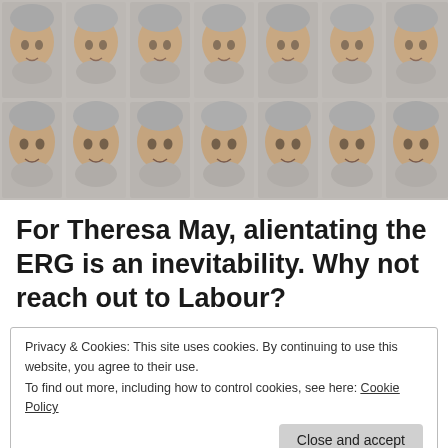[Figure (photo): A grid of 14 identical portrait photos of the same man (Jeremy Corbyn) arranged in 2 rows of 7, showing a grey-haired, grey-bearded older man with a serious expression against a light background.]
For Theresa May, alientating the ERG is an inevitability. Why not reach out to Labour?
Privacy & Cookies: This site uses cookies. By continuing to use this website, you agree to their use.
To find out more, including how to control cookies, see here: Cookie Policy
Close and accept
votes to pass her Brexit deal through Parliament, with a